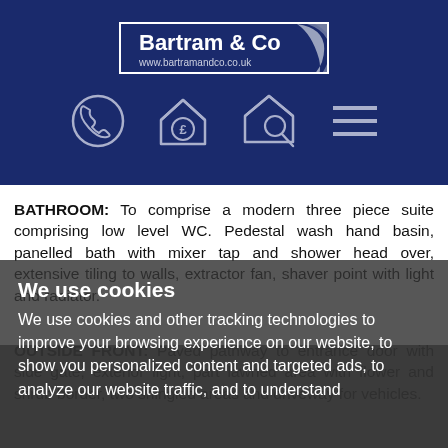[Figure (logo): Bartram & Co logo with website www.bartramandco.co.uk on dark navy background with decorative swirl, plus navigation icons: phone, house with pound, house with magnifier, hamburger menu]
BATHROOM: To comprise a modern three piece suite comprising low level WC. Pedestal wash hand basin, panelled bath with mixer tap and shower head over, extensive tiling to walls, extractor fan, shaver point with light and radiator.
OUTSIDE FRONT: Paved pathway to entrance door with side gate, exterior light, part lawned area with flower and shrub border, two shingled areas and driveway for vehicles.
We use cookies
We use cookies and other tracking technologies to improve your browsing experience on our website, to show you personalized content and targeted ads, to analyze our website traffic, and to understand
REAR GARDEN: